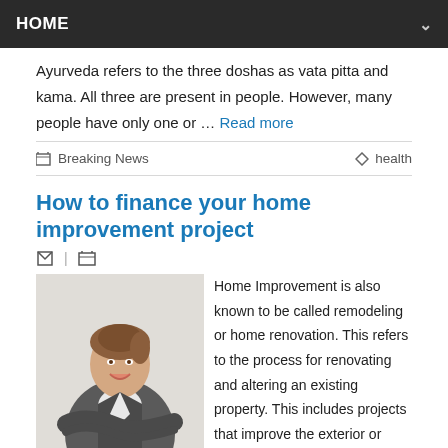HOME
Ayurveda refers to the three doshas as vata pitta and kama. All three are present in people. However, many people have only one or … Read more
Breaking News   health
How to finance your home improvement project
[Figure (photo): Woman in business suit with arms crossed, smiling]
Home Improvement is also known to be called remodeling or home renovation. This refers to the process for renovating and altering an existing property. This includes projects that improve the exterior or interior of a home. You'll find out how to finance your home renovation project and how to hire